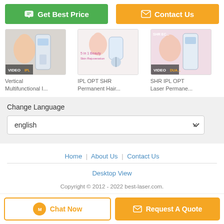[Figure (screenshot): Green 'Get Best Price' button with chat icon on left, orange 'Contact Us' button with envelope icon on right]
[Figure (screenshot): Three product thumbnail images: Vertical Multifunctional I..., IPL OPT SHR Permanent Hair..., SHR IPL OPT Laser Permane... with VIDEO badges on first and third]
Vertical Multifunctional I...
IPL OPT SHR Permanent Hair...
SHR IPL OPT Laser Permane...
Change Language
english
Home | About Us | Contact Us
Desktop View
Copyright © 2012 - 2022 best-laser.com.
All rights reserved.
[Figure (screenshot): Chat Now button (outline orange) and Request A Quote button (solid orange) at bottom]